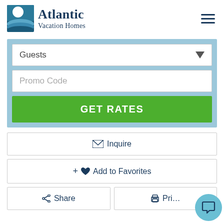[Figure (logo): Atlantic Vacation Homes logo with teal/blue square icon showing moon and waves, company name in dark navy blue]
[Figure (illustration): Hamburger menu icon (three horizontal lines) in dark navy blue]
[Figure (screenshot): Booking search form with Guests dropdown, Promo Code text field, and GET RATES button on light blue background]
Inquire
+ Add to Favorites
Share
Prin...
[Figure (illustration): Blue circular chat bubble icon in bottom right corner]